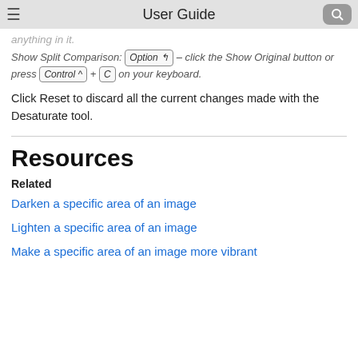User Guide
anything in it.
Show Split Comparison: Option – click the Show Original button or press Control + C on your keyboard.
Click Reset to discard all the current changes made with the Desaturate tool.
Resources
Related
Darken a specific area of an image
Lighten a specific area of an image
Make a specific area of an image more vibrant